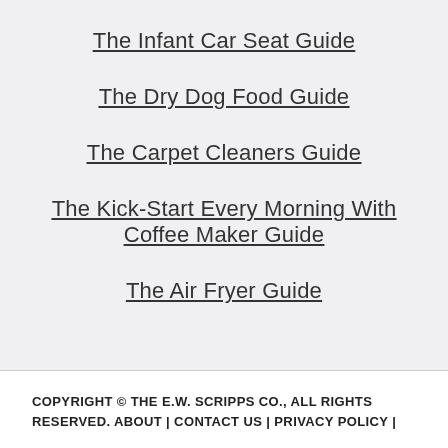The Infant Car Seat Guide
The Dry Dog Food Guide
The Carpet Cleaners Guide
The Kick-Start Every Morning With Coffee Maker Guide
The Air Fryer Guide
COPYRIGHT © THE E.W. SCRIPPS CO., ALL RIGHTS RESERVED. ABOUT | CONTACT US | PRIVACY POLICY |